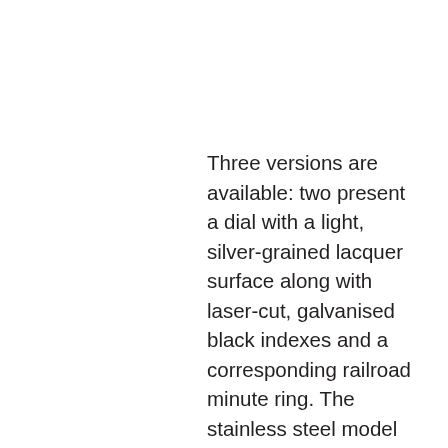Three versions are available: two present a dial with a light, silver-grained lacquer surface along with laser-cut, galvanised black indexes and a corresponding railroad minute ring. The stainless steel model presents finely drawn minute numerals inspired by those of historic pocket watches, laser-cut and galvanised in black, while the red gold version